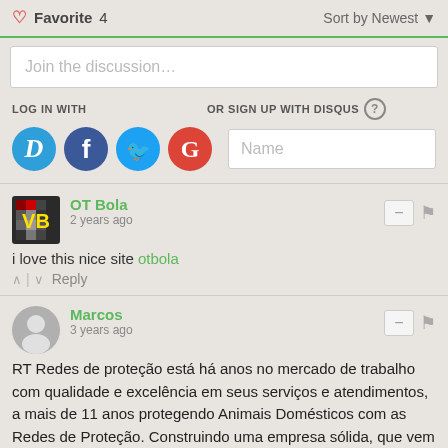❤ Favorite 4    Sort by Newest ▼
Join the discussion…
LOG IN WITH
OR SIGN UP WITH DISQUS ?
Name
OT Bola
2 years ago
i love this nice site otbola
^ | ∨  Reply
Marcos
3 years ago
RT Redes de proteção está há anos no mercado de trabalho com qualidade e excelência em seus serviços e atendimentos, a mais de 11 anos protegendo Animais Domésticos com as Redes de Proteção. Construindo uma empresa sólida, que vem evoluindo cada dia mais em nossos serviços e produtos.